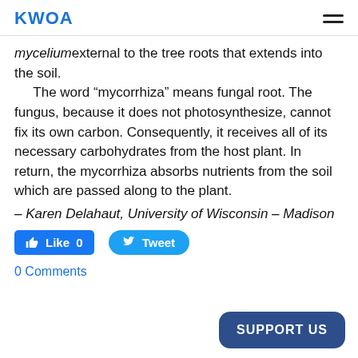KWOA
myceliumexternal to the tree roots that extends into the soil.
    The word “mycorrhiza” means fungal root. The fungus, because it does not photosynthesize, cannot fix its own carbon. Consequently, it receives all of its necessary carbohydrates from the host plant. In return, the mycorrhiza absorbs nutrients from the soil which are passed along to the plant.
– Karen Delahaut, University of Wisconsin – Madison
Like 0   Tweet
0 Comments
SUPPORT US